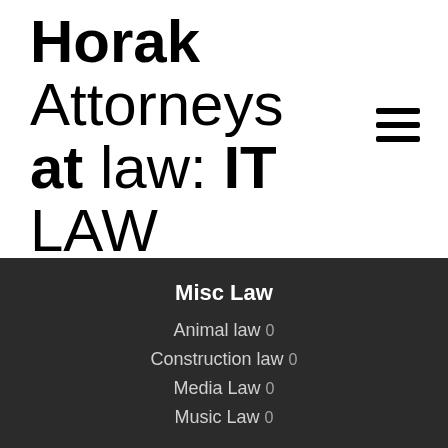Horak Attorneys at law: IT LAW EXPERTS
Misc Law
Animal law 0
Construction law 0
Media Law 0
Music Law 0